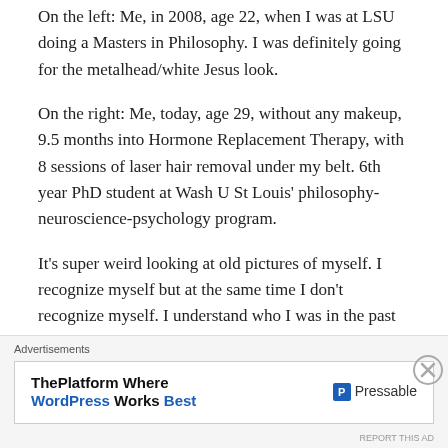On the left: Me, in 2008, age 22, when I was at LSU doing a Masters in Philosophy. I was definitely going for the metalhead/white Jesus look.
On the right: Me, today, age 29, without any makeup, 9.5 months into Hormone Replacement Therapy, with 8 sessions of laser hair removal under my belt. 6th year PhD student at Wash U St Louis' philosophy-neuroscience-psychology program.
It’s super weird looking at old pictures of myself. I recognize myself but at the same time I don’t recognize myself. I understand who I was in the past because I have memories of those times. I even partly still identify with that
Advertisements
ThePlatform Where WordPress Works Best | Pressable